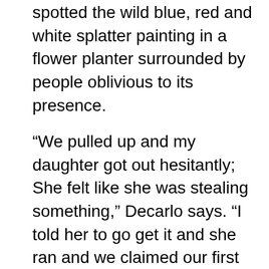spotted the wild blue, red and white splatter painting in a flower planter surrounded by people oblivious to its presence.
“We pulled up and my daughter got out hesitantly; She felt like she was stealing something,” Decarlo says. “I told her to go get it and she ran and we claimed our first piece of Skoff art. You could still smell the paint. We were ecstatic.”
About twenty people participate in each art hunt, making the air thick with competition. Often multiple people come across a piece at the same time and make a mad dash in order to claim it first. There have even been times